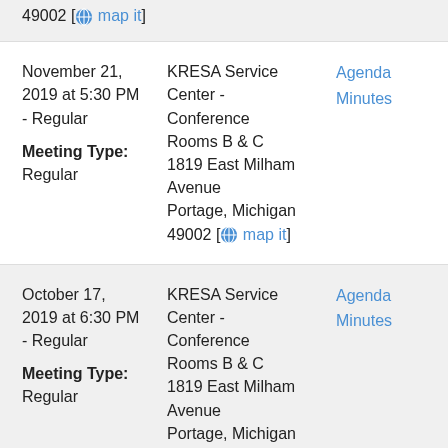49002 [map it]
November 21, 2019 at 5:30 PM - Regular
Meeting Type: Regular
KRESA Service Center - Conference Rooms B & C 1819 East Milham Avenue Portage, Michigan 49002 [map it]
Agenda
Minutes
October 17, 2019 at 6:30 PM - Regular
Meeting Type: Regular
KRESA Service Center - Conference Rooms B & C 1819 East Milham Avenue Portage, Michigan 49002 [map it]
Agenda
Minutes